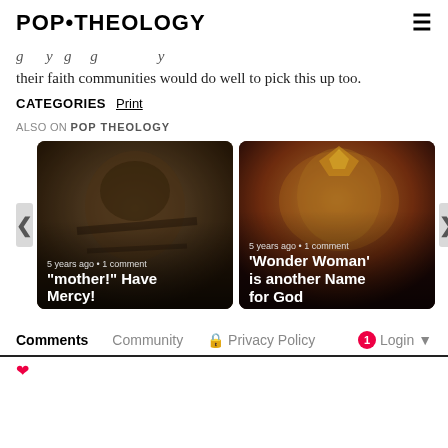POP•THEOLOGY
their faith communities would do well to pick this up too.
CATEGORIES   Print
ALSO ON POP THEOLOGY
[Figure (screenshot): Carousel with two article cards. Left card: dark close-up of a man's face, caption '5 years ago • 1 comment', title '"mother!" Have Mercy!'. Right card: Wonder Woman character with golden tiara, caption '5 years ago • 1 comment', title ''Wonder Woman' is another Name for God'. Navigation arrows on left and right.]
Comments   Community   Privacy Policy   Login